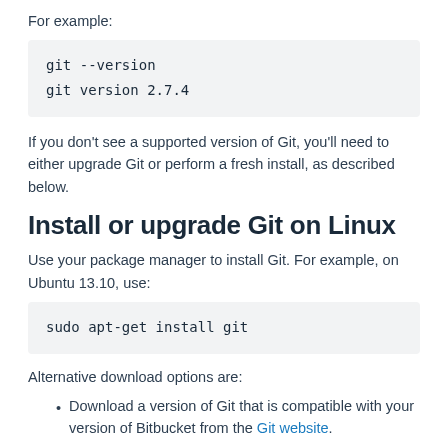For example:
[Figure (screenshot): Code block showing: git --version
git version 2.7.4]
If you don't see a supported version of Git, you'll need to either upgrade Git or perform a fresh install, as described below.
Install or upgrade Git on Linux
Use your package manager to install Git. For example, on Ubuntu 13.10, use:
[Figure (screenshot): Code block showing: sudo apt-get install git]
Alternative download options are:
Download a version of Git that is compatible with your version of Bitbucket from the Git website.